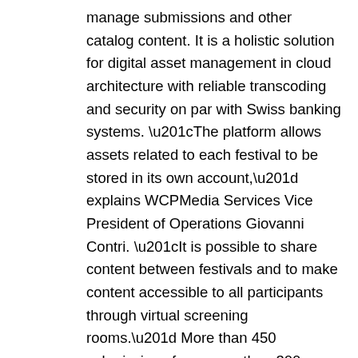manage submissions and other catalog content. It is a holistic solution for digital asset management in cloud architecture with reliable transcoding and security on par with Swiss banking systems. “The platform allows assets related to each festival to be stored in its own account,” explains WCPMedia Services Vice President of Operations Giovanni Contri. “It is possible to share content between festivals and to make content accessible to all participants through virtual screening rooms.” More than 450 submissions from more than 300 participants are currently stored on WCP, and that count is continuously rising as the various events happen during the year in the locations across the world.